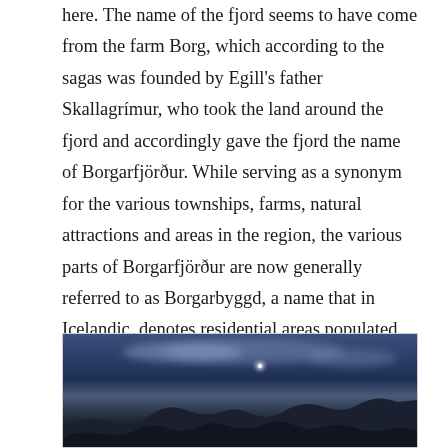here. The name of the fjord seems to have come from the farm Borg, which according to the sagas was founded by Egill's father Skallagrímur, who took the land around the fjord and accordingly gave the fjord the name of Borgarfjörður. While serving as a synonym for the various townships, farms, natural attractions and areas in the region, the various parts of Borgarfjörður are now generally referred to as Borgarbyggd, a name that in Icelandic, denotes residential areas populated places, such as Borgarnes, tourist resorts and attractions, and less populated farm and more remote natural areas. The name Borgafjorður refers to the actual fjord and surrounding beaches as a natural habitat.
[Figure (photo): A twilight/dusk landscape photo showing dark rolling hills silhouetted against a deep blue sky with some clouds and a single bright star or planet visible.]